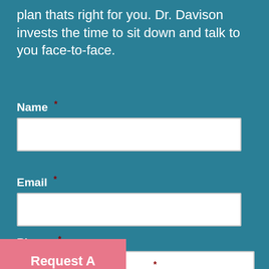plan thats right for you. Dr. Davison invests the time to sit down and talk to you face-to-face.
Name *
Email *
Phone *
Request A Virtual Consultation
st *